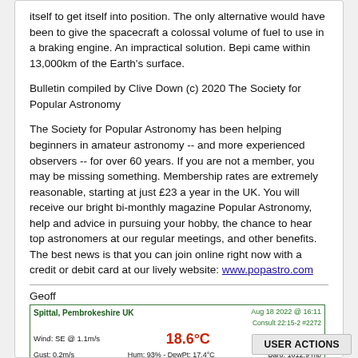itself to get itself into position. The only alternative would have been to give the spacecraft a colossal volume of fuel to use in a braking engine. An impractical solution. Bepi came within 13,000km of the Earth's surface.
Bulletin compiled by Clive Down (c) 2020 The Society for Popular Astronomy
The Society for Popular Astronomy has been helping beginners in amateur astronomy -- and more experienced observers -- for over 60 years. If you are not a member, you may be missing something. Membership rates are extremely reasonable, starting at just £23 a year in the UK. You will receive our bright bi-monthly magazine Popular Astronomy, help and advice in pursuing your hobby, the chance to hear top astronomers at our regular meetings, and other benefits. The best news is that you can join online right now with a credit or debit card at our lively website: www.popastro.com
Geoff
[Figure (other): Weather station widget showing: Spittal, Pembrokeshire UK, Aug 18 2022 @ 16:11, Wind: SE @ 1.1m/s, temperature 18.6°C, Rain: 1.0 mm, Gust: 0.2m/s, Hum: 93% - DewPt: 17.4°C, Baro: 1012.9 mb]
USER ACTIONS